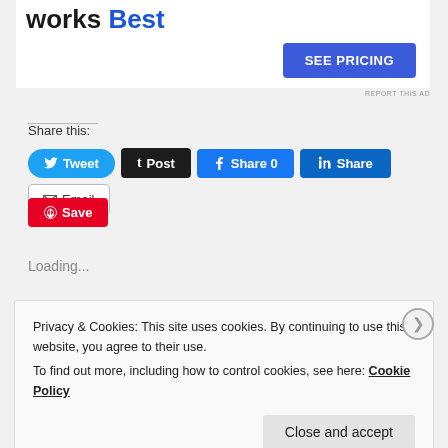[Figure (screenshot): Ad banner showing 'works Best' text with a blue 'SEE PRICING' button]
REPORT THIS AD
Share this:
Tweet  Post  Share 0  Share  Email  Save
Loading...
Privacy & Cookies: This site uses cookies. By continuing to use this website, you agree to their use.
To find out more, including how to control cookies, see here: Cookie Policy
Close and accept